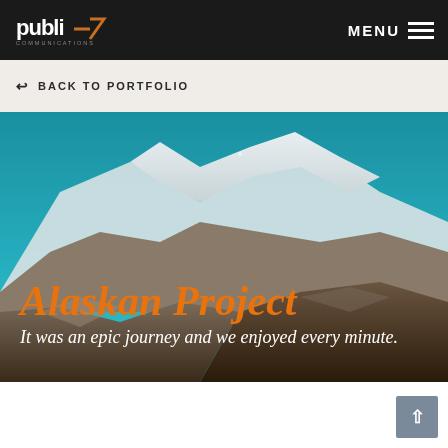publi-7 communications — MENU
↩ BACK TO PORTFOLIO
[Figure (photo): Aerial photograph of a snow-capped Alaskan mountain range with brown rocky foreground under a teal-blue sky. Overlaid text reads 'Alaskan Project' in bold orange italic and 'It was an epic journey and we enjoyed every minute.' in white italic below.]
Alaskan Project
It was an epic journey and we enjoyed every minute.